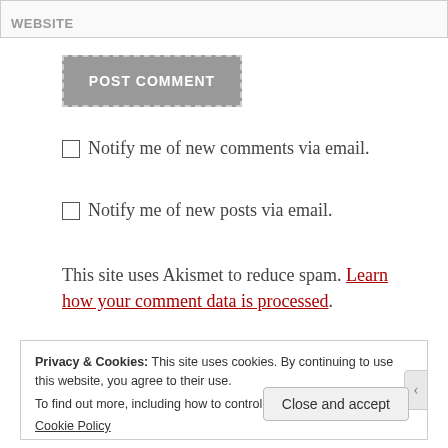WEBSITE
[Figure (screenshot): POST COMMENT button with dashed border on grey background]
Notify me of new comments via email.
Notify me of new posts via email.
This site uses Akismet to reduce spam. Learn how your comment data is processed.
Privacy & Cookies: This site uses cookies. By continuing to use this website, you agree to their use.
To find out more, including how to control cookies, see here:
Cookie Policy
Close and accept